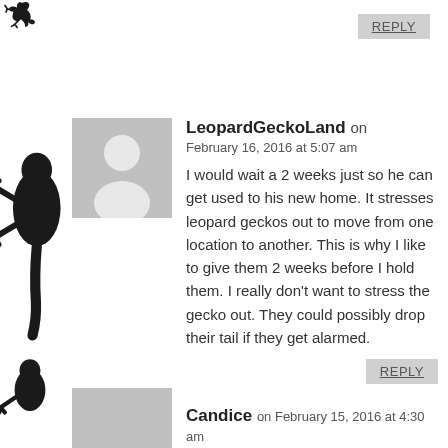[Figure (illustration): Decorative gecko/lizard silhouettes in black on the left side of the page]
REPLY
LeopardGeckoLand on February 16, 2016 at 5:07 am
I would wait a 2 weeks just so he can get used to his new home. It stresses leopard geckos out to move from one location to another. This is why I like to give them 2 weeks before I hold them. I really don't want to stress the gecko out. They could possibly drop their tail if they get alarmed.
REPLY
Candice on February 15, 2016 at 4:30 am